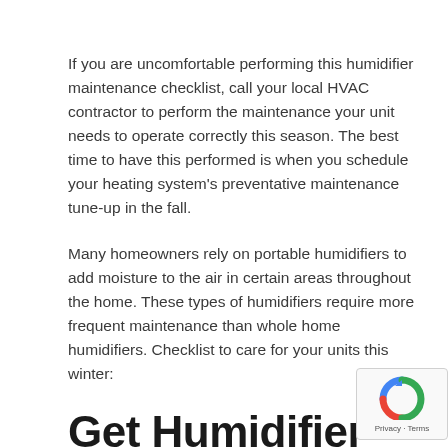If you are uncomfortable performing this humidifier maintenance checklist, call your local HVAC contractor to perform the maintenance your unit needs to operate correctly this season. The best time to have this performed is when you schedule your heating system's preventative maintenance tune-up in the fall.
Many homeowners rely on portable humidifiers to add moisture to the air in certain areas throughout the home. These types of humidifiers require more frequent maintenance than whole home humidifiers. Checklist to care for your units this winter:
Get Humidifier Help on Heating & Cooling
Heating & Cooling is the leading resource for all things